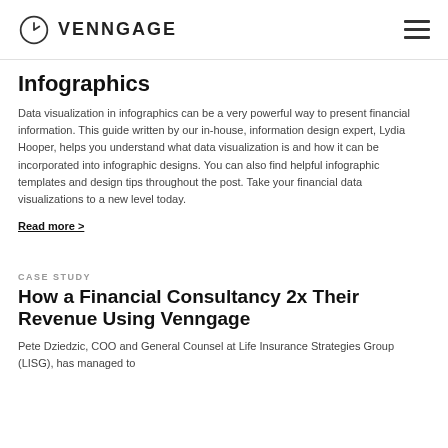VENNGAGE
Infographics
Data visualization in infographics can be a very powerful way to present financial information. This guide written by our in-house, information design expert, Lydia Hooper, helps you understand what data visualization is and how it can be incorporated into infographic designs. You can also find helpful infographic templates and design tips throughout the post. Take your financial data visualizations to a new level today.
Read more >
CASE STUDY
How a Financial Consultancy 2x Their Revenue Using Venngage
Pete Dziedzic, COO and General Counsel at Life Insurance Strategies Group (LISG), has managed to